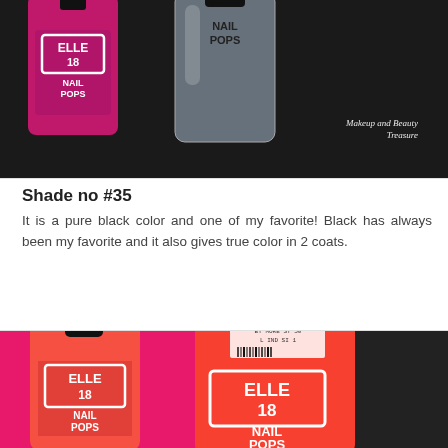[Figure (photo): Close-up photo of Elle 18 Nail Pops nail polish bottles — a pink/magenta bottle on the left and a clear/transparent bottle in the center, on dark background. Watermark reads 'Makeup and Beauty Treasure'.]
Shade no #35
It is a pure black color and one of my favorite! Black has always been my favorite and it also gives true color in 2 coats.
[Figure (photo): Close-up photo of two Elle 18 Nail Pops nail polish bottles in coral/orange-red color, with product labels visible on the back of the bottles, set against a pink/magenta background.]